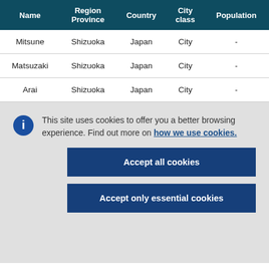| Name | Region Province | Country | City class | Population |
| --- | --- | --- | --- | --- |
| Mitsune | Shizuoka | Japan | City | - |
| Matsuzaki | Shizuoka | Japan | City | - |
| Arai | Shizuoka | Japan | City | - |
This site uses cookies to offer you a better browsing experience. Find out more on how we use cookies.